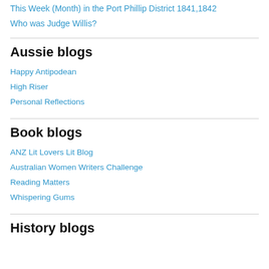This Week (Month) in the Port Phillip District 1841,1842
Who was Judge Willis?
Aussie blogs
Happy Antipodean
High Riser
Personal Reflections
Book blogs
ANZ Lit Lovers Lit Blog
Australian Women Writers Challenge
Reading Matters
Whispering Gums
History blogs